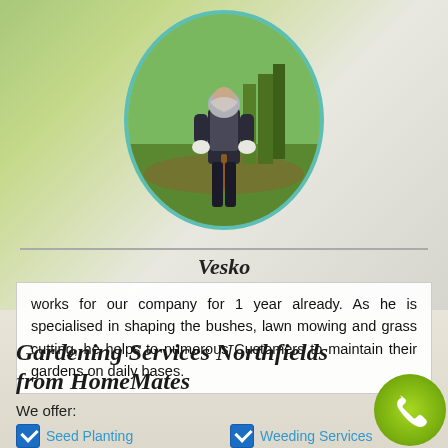[Figure (photo): Oval portrait photo of Vesko, a gardener standing outdoors in a garden area with trees and grass, wearing dark clothing and a light hoodie, holding a tool]
Vesko
works for our company for 1 year already. As he is specialised in shaping the bushes, lawn mowing and grass cutting, he helps to numerous Customers to maintain their gardens on daily bases.
Gardening Services Northfields from HomeMates
We offer:
Seed Planting
Weeding Services